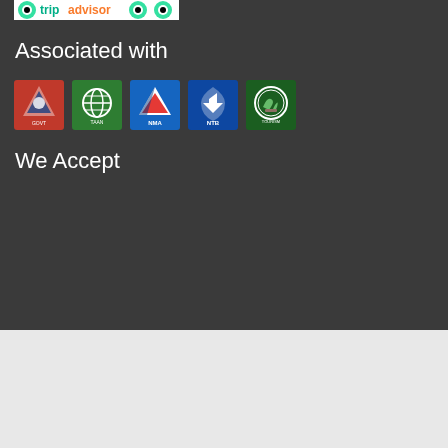[Figure (logo): TripAdvisor logo (partial, top of page)]
Associated with
[Figure (infographic): Five association logos in a row: Nepal Tourism Board, TAAN, NMA, NTB, and Tourism Promotion Board logos]
We Accept
© 2022 Musical Adventure Trekking P. Ltd, All rights reserved. Powered by: WildStone Solution
FAQs | Privacy Policy